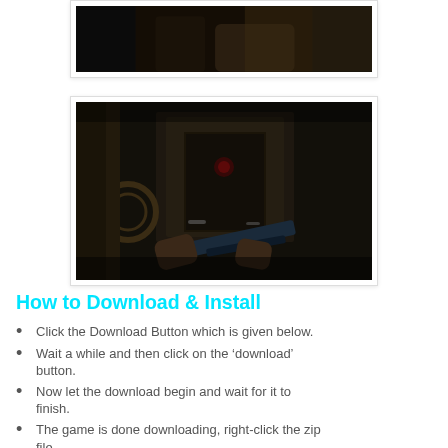[Figure (screenshot): Top portion of a video game screenshot showing a dark scene with a character in combat attire]
[Figure (screenshot): A first-person shooter game screenshot showing a corridor scene with a weapon in foreground and ornate door in background]
How to Download & Install
Click the Download Button which is given below.
Wait a while and then click on the ‘download’ button.
Now let the download begin and wait for it to finish.
The game is done downloading, right-click the zip file.